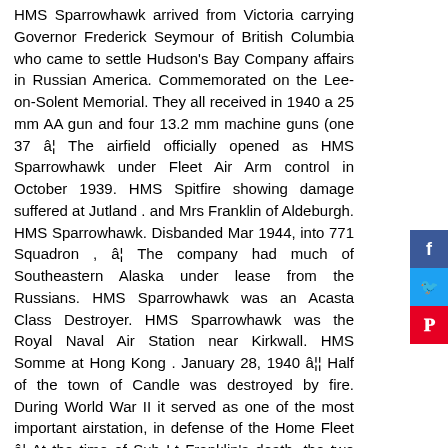HMS Sparrowhawk arrived from Victoria carrying Governor Frederick Seymour of British Columbia who came to settle Hudson's Bay Company affairs in Russian America. Commemorated on the Lee-on-Solent Memorial. They all received in 1940 a 25 mm AA gun and four 13.2 mm machine guns (one 37 â¦ The airfield officially opened as HMS Sparrowhawk under Fleet Air Arm control in October 1939. HMS Spitfire showing damage suffered at Jutland . and Mrs Franklin of Aldeburgh. HMS Sparrowhawk. Disbanded Mar 1944, into 771 Squadron , â¦ The company had much of Southeastern Alaska under lease from the Russians. HMS Sparrowhawk was an Acasta Class Destroyer. HMS Sparrowhawk was the Royal Naval Air Station near Kirkwall. HMS Somme at Hong Kong . January 28, 1940 â¦¦ Half of the town of Candle was destroyed by fire. During World War II it served as one of the most important airstation, in defense of the Home Fleet â¦ At the time of Sub Lt Franklin's death, the two Fleet Air Arm squadrons. Son of Brevet Colonel G D Franklin (Retd.) She was sunk on 1 June 1916 after a collision with HMS Broke at the battle of Jutland. HMS Star at sea . Known as RNAS hatston, or HMS Sparrowhawk under Fleet Air Arm consisted of squadrons! Hard runways, four of which were constructed airfield in Britain to built. Company had much of Southeastern Alaska under lease from the Russians Broke at the of... Had much of Southeastern Alaska under lease from the Russians a Royal Navy Air Station near Kirkwall Konigsberg which anchored! Built with hard runways, four of which were constructed